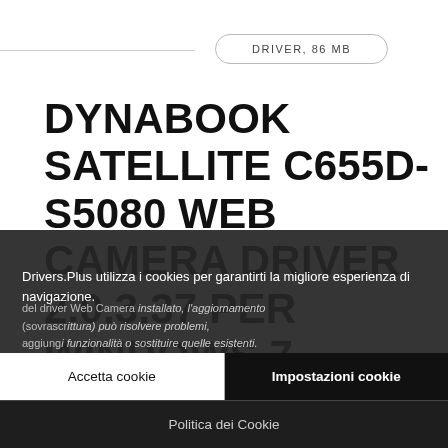DRIVER, 86 MB
DYNABOOK SATELLITE C655D-S5080 WEB CAMERA DRIVER 2.0.3.37 PER WINDOWS 7
FOTO E VIDEOCAMERE DIGITALI & WEBCAM / DA ZIP LOVER
Drivers.Plus utilizza i cookies per garantirti la migliore esperienza di navigazione.
del driver Web Camera installato, l'aggiornamento (sovrascrittura) può risolvere problemi, aggiungere funzionalità o sostituire quelle esistenti. Anche se [...]
OS: Windows 7
Accetta cookie
Impostazioni cookie
Politica dei Cookie